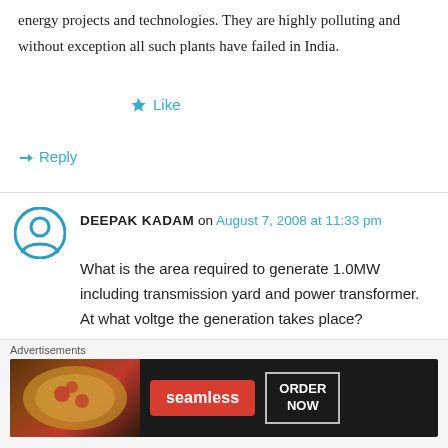energy projects and technologies. They are highly polluting and without exception all such plants have failed in India.
Like
Reply
DEEPAK KADAM on August 7, 2008 at 11:33 pm
What is the area required to generate 1.0MW including transmission yard and power transformer.
At what voltge the generation takes place?
Can the generator be installed in city?
Advertisements